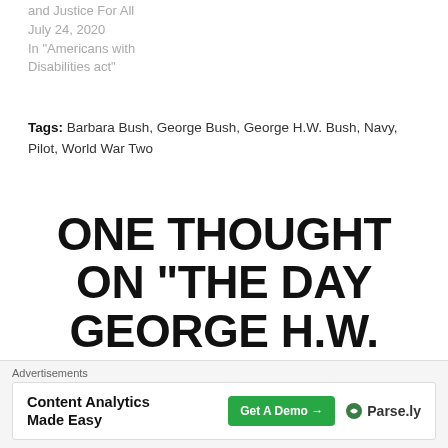and Justice For All
July 24, 2020
In "Americans with Disabilities act"
Tags: Barbara Bush, George Bush, George H.W. Bush, Navy, Pilot, World War Two
ONE THOUGHT ON “THE DAY GEORGE H.W. BUSH NARROWLY ESCAPED BEING BEHEADED AND
Advertisements
Content Analytics Made Easy
Get A Demo →
Parse.ly